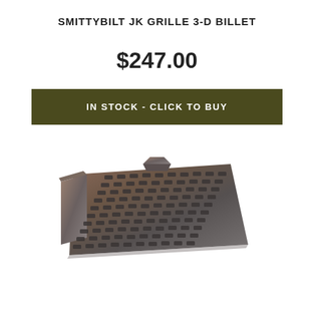SMITTYBILT JK GRILLE 3-D BILLET
$247.00
IN STOCK - CLICK TO BUY
[Figure (photo): A Smittybilt JK Grille 3-D Billet product shown at an angle, displaying a dark metallic grille panel with rows of rectangular slot cutouts arranged in a grid pattern, with a notch cut into the top edge.]